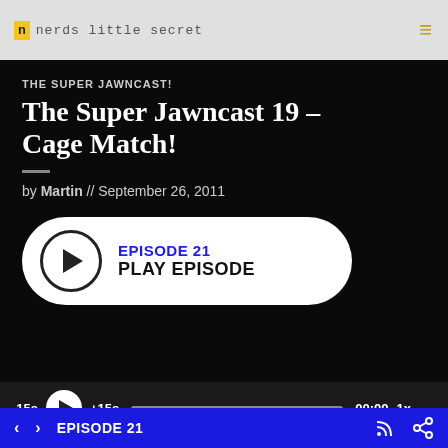nerds little secret
THE SUPER JAWNCAST!
The Super Jawncast 19 – Cage Match!
by Martin // September 26, 2011
[Figure (other): Play episode widget with circular play button, 'EPISODE 21' in blue text, and 'PLAY EPISODE' in black text on white rounded rectangle background]
EPISODE 21 navigation bar with back/forward arrows and share/RSS icons